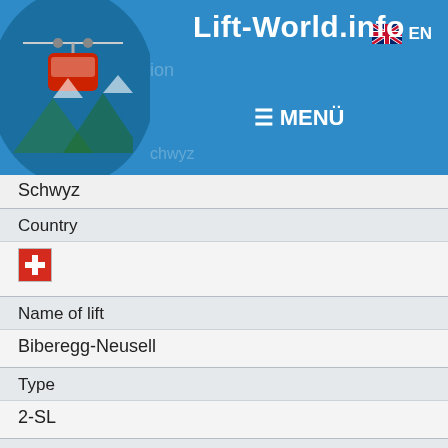Lift-World.info | MENÜ | EN
| Field | Value |
| --- | --- |
| Country | 🇨🇭 |
| Name of lift | Biberegg-Neusell |
| Type | 2-SL |
| Lift manufacturer | Städeli |
| Year of construction | 1968 |
| Commissioning date |  |